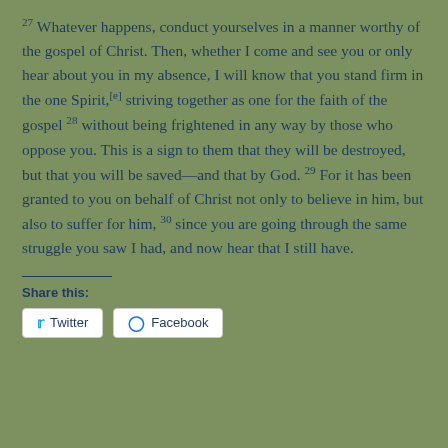27 Whatever happens, conduct yourselves in a manner worthy of the gospel of Christ. Then, whether I come and see you or only hear about you in my absence, I will know that you stand firm in the one Spirit,[e] striving together as one for the faith of the gospel 28 without being frightened in any way by those who oppose you. This is a sign to them that they will be destroyed, but that you will be saved—and that by God. 29 For it has been granted to you on behalf of Christ not only to believe in him, but also to suffer for him, 30 since you are going through the same struggle you saw I had, and now hear that I still have.
Share this:
Twitter   Facebook